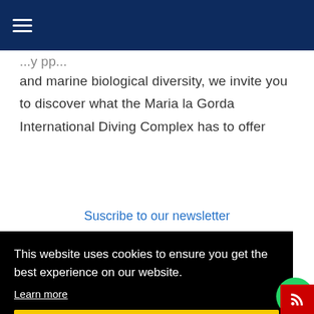Navigation bar with hamburger menu
and marine biological diversity, we invite you to discover what the Maria la Gorda International Diving Complex has to offer
Suscribe to our newsletter
This website uses cookies to ensure you get the best experience on our website.
Learn more
Got it!
ment(s)